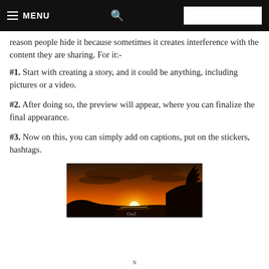≡ MENU  🔍
reason people hide it because sometimes it creates interference with the content they are sharing. For it:-
#1. Start with creating a story, and it could be anything, including pictures or a video.
#2. After doing so, the preview will appear, where you can finalize the final appearance.
#3. Now on this, you can simply add on captions, put on the stickers, hashtags.
[Figure (photo): A sunset photo showing an orange and golden sky over a silhouetted landscape with mountains and rocky cliffs, with a bright sun near the horizon.]
x